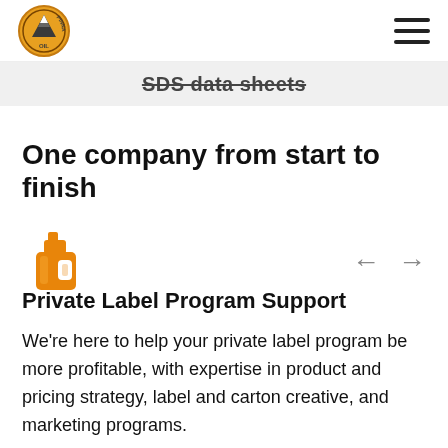Pinnacle Oil logo and hamburger menu
SDS data sheets
One company from start to finish
[Figure (illustration): Orange oil container/bottle icon]
Private Label Program Support
We're here to help your private label program be more profitable, with expertise in product and pricing strategy, label and carton creative, and marketing programs.